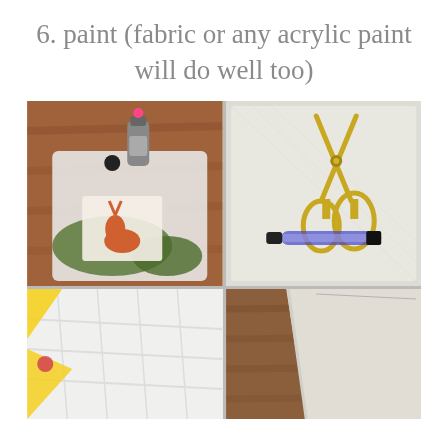6. paint (fabric or any acrylic paint will do well too)
[Figure (photo): A 2x2 grid of photos showing craft supplies: top-left shows paint bottles and fabric in a plastic tray, top-right shows gold scissors and a black pen on white fabric, bottom-left shows white fabric with yellow material, bottom-right shows white fabric on a wood surface.]